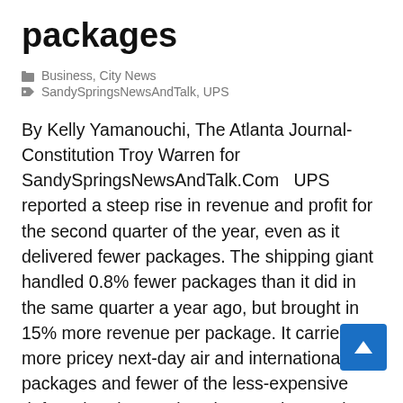packages
Business, City News
SandySpringsNewsAndTalk, UPS
By Kelly Yamanouchi, The Atlanta Journal-Constitution Troy Warren for SandySpringsNewsAndTalk.Com   UPS reported a steep rise in revenue and profit for the second quarter of the year, even as it delivered fewer packages. The shipping giant handled 0.8% fewer packages than it did in the same quarter a year ago, but brought in 15% more revenue per package. It carried more pricey next-day air and international packages and fewer of the less-expensive deferred and ground packages. The Sandy Springs-based company said Tuesday its net income soared 51% to $2.68 billion from $1.77 billion a year ago. Revenue rose 15% to $23.42 billion from…